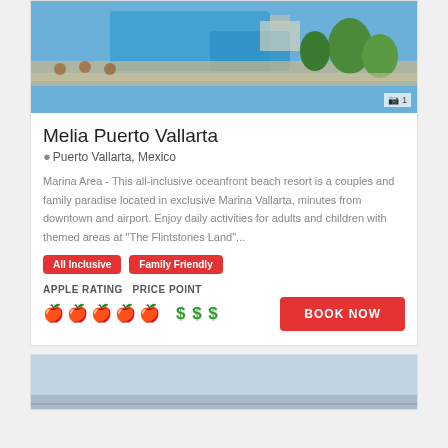[Figure (photo): Aerial view of resort with pool, beach chairs, umbrellas, and tropical landscaping]
Melia Puerto Vallarta
Puerto Vallarta, Mexico
Marina Area - This all-inclusive oceanfront beach resort is a couples and family paradise located in exclusive Marina Vallarta, minutes from downtown and airport. Enjoy daily activities for adults and children with themed areas at "The Flintstones Land"...
All Inclusive
Family Friendly
APPLE RATING PRICE POINT
5 apples rating, $$$ price point
[Figure (photo): Partial view of another hotel listing with beach/ocean scene]